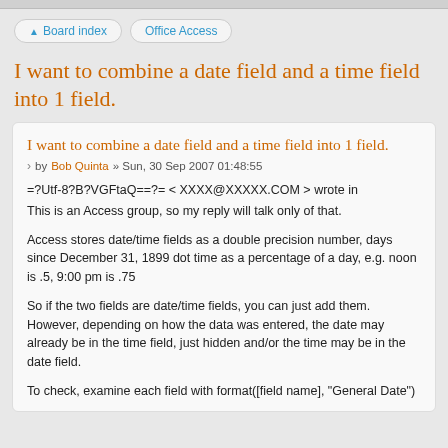Board index  Office Access
I want to combine a date field and a time field into 1 field.
I want to combine a date field and a time field into 1 field.
by Bob Quinta » Sun, 30 Sep 2007 01:48:55
=?Utf-8?B?VGFtaQ==?= < XXXX@XXXXX.COM > wrote in
This is an Access group, so my reply will talk only of that.
Access stores date/time fields as a double precision number, days since December 31, 1899 dot time as a percentage of a day, e.g. noon is .5, 9:00 pm is .75
So if the two fields are date/time fields, you can just add them. However, depending on how the data was entered, the date may already be in the time field, just hidden and/or the time may be in the date field.
To check, examine each field with format([field name], "General Date")